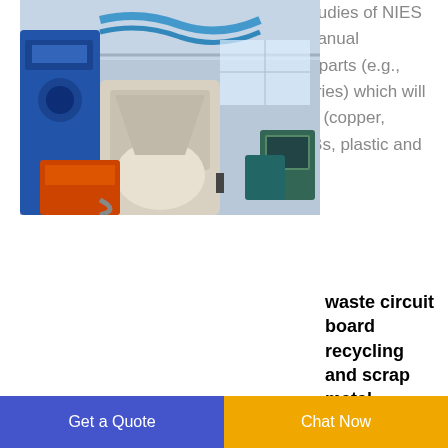processes have been provided in the studies of NIES and INEST [], Hai et al. [] with mainly manual works. The outputs include untradeable parts (e.g., foamed plastics, papers, glasses, batteries) which will be dumped or landfilled, metal fractions (copper, aluminum, zinc and ferrous metal), PCBs, plastic and cable fraction.
[Figure (photo): Industrial facility photo showing waste circuit board recycling and scrap metal recycling machinery including blue industrial equipment, pipes, and workers in a factory setting.]
waste circuit board recycling and scrap metal recycling
Get a Quote  |  Chat Now